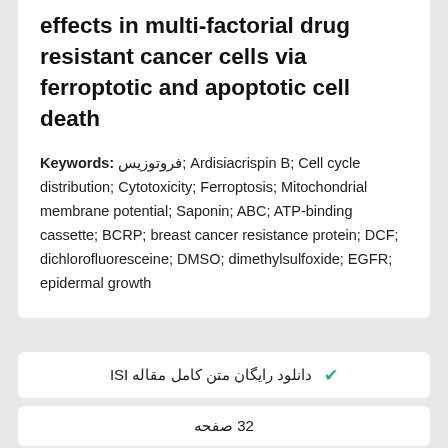effects in multi-factorial drug resistant cancer cells via ferroptotic and apoptotic cell death
Keywords: فروتوزیس; Ardisiacrispin B; Cell cycle distribution; Cytotoxicity; Ferroptosis; Mitochondrial membrane potential; Saponin; ABC; ATP-binding cassette; BCRP; breast cancer resistance protein; DCF; dichlorofluoresceine; DMSO; dimethylsulfoxide; EGFR; epidermal growth
✓ دانلود رایگان متن کامل مقاله ISI
32 صفحه